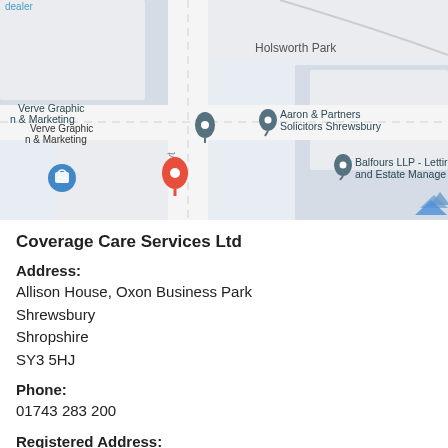[Figure (map): Google Maps screenshot showing the location of Coverage Care Services Ltd near Oxon Business Park, Shrewsbury. Visible landmarks include Verve Graphic n & Marketing, Aaron & Partners Solicitors Shrewsbury, Balfours LLP - Letting and Estate Management, Holsworth Park, and a red location pin on Clayt... road.]
Coverage Care Services Ltd
Address:
Allison House, Oxon Business Park
Shrewsbury
Shropshire
SY3 5HJ
Phone:
01743 283 200
Registered Address: